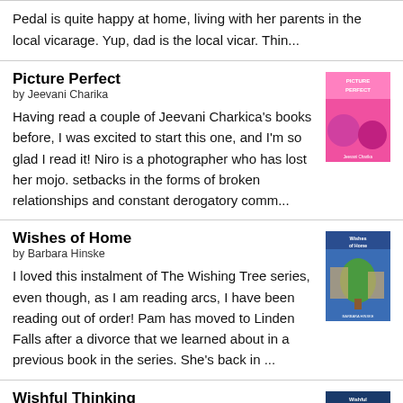Pedal is quite happy at home, living with her parents in the local vicarage. Yup, dad is the local vicar. Thin...
Picture Perfect
by Jeevani Charika
Having read a couple of Jeevani Charkica's books before, I was excited to start this one, and I'm so glad I read it! Niro is a photographer who has lost her mojo. setbacks in the forms of broken relationships and constant derogatory comm...
Wishes of Home
by Barbara Hinske
I loved this instalment of The Wishing Tree series, even though, as I am reading arcs, I have been reading out of order! Pam has moved to Linden Falls after a divorce that we learned about in a previous book in the series. She's back in ...
Wishful Thinking
by Kay Bratt
I thoroughly enjoyed the first set of The Wishing Tree Books and am thrilled that the second wave of instalments is coming through now! It was lovely to go back to Linden Falls, visit familiar...